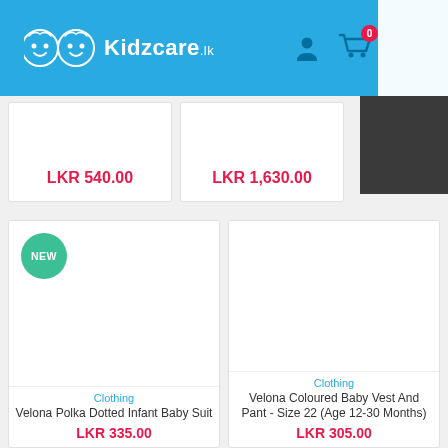Kidzcare.lk
LKR 540.00
LKR 1,630.00
NEW
Clothing
Velona Polka Dotted Infant Baby Suit
LKR 335.00
Clothing
Velona Coloured Baby Vest And Pant - Size 22 (Age 12-30 Months)
LKR 305.00